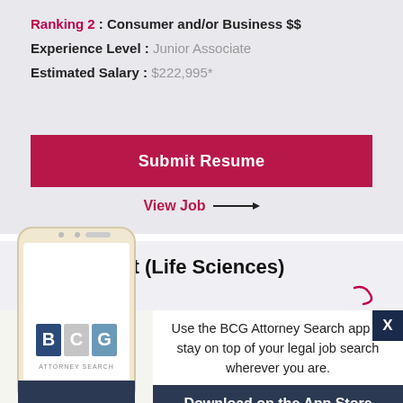Ranking 2 : Consumer and/or Business $$
Experience Level : Junior Associate
Estimated Salary : $222,995*
Submit Resume
View Job →
Patent Agent (Life Sciences)
[Figure (screenshot): BCG Attorney Search app advertisement showing a smartphone with BCG logo, text about using the app to stay on top of legal job search, and a Download on the App Store button]
Use the BCG Attorney Search app to stay on top of your legal job search wherever you are.
Download on the App Store